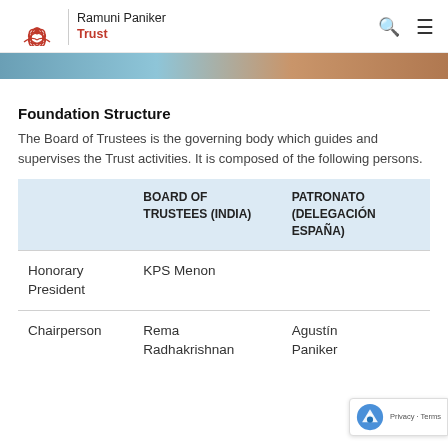Ramuni Paniker Trust
[Figure (photo): Hero image strip showing a person, partially visible at the top of the page]
Foundation Structure
The Board of Trustees is the governing body which guides and supervises the Trust activities. It is composed of the following persons.
|  | BOARD OF TRUSTEES (INDIA) | PATRONATO (DELEGACIÓN ESPAÑA) |
| --- | --- | --- |
| Honorary President | KPS Menon |  |
| Chairperson | Rema Radhakrishnan | Agustín Paniker |